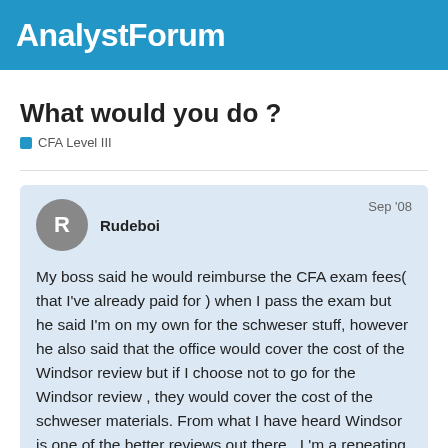AnalystForum
What would you do ?
CFA Level III
Rudeboi
Sep '08
My boss said he would reimburse the CFA exam fees( that I've already paid for ) when I pass the exam but he said I'm on my own for the schweser stuff, however he also said that the office would cover the cost of the Windsor review but if I choose not to go for the Windsor review , they would cover the cost of the schweser materials. From what I have heard Windsor is one of the better reviews out there . I 'm a repeating candidate so I do have the 2008 schweser books. I 'm really tight on funds and can't really afford to pay for anything else right now , so keeping this in mind if you guys were in my position what would you do 2 1 Start with the CFA!